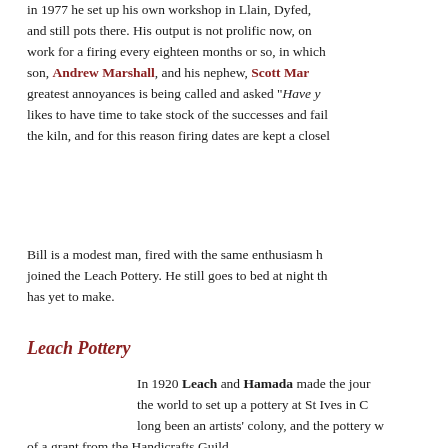in 1977 he set up his own workshop in Llain, Dyfed, and still pots there. His output is not prolific now, only work for a firing every eighteen months or so, in which his son, Andrew Marshall, and his nephew, Scott Marshall, greatest annoyances is being called and asked "Have you likes to have time to take stock of the successes and failures the kiln, and for this reason firing dates are kept a closely
Bill is a modest man, fired with the same enthusiasm he had when he joined the Leach Pottery. He still goes to bed at night thinking of the pot he has yet to make.
Leach Pottery
In 1920 Leach and Hamada made the journey around the world to set up a pottery at St Ives in Cornwall. St Ives had long been an artists' colony, and the pottery was started with the help of a grant from the Handicrafts Guild.